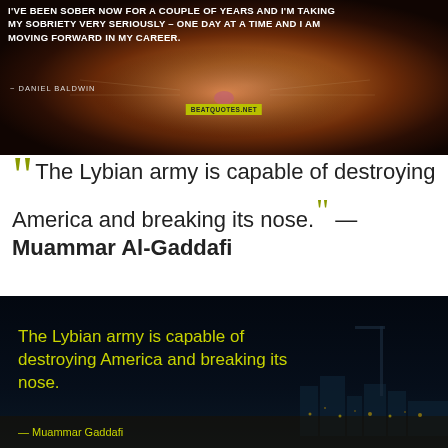[Figure (photo): Close-up photo of a cat's face (orange/tabby) with a dark background, overlaid with a quote in white bold uppercase text: "I'VE BEEN SOBER NOW FOR A COUPLE OF YEARS AND I'M TAKING MY SOBRIETY VERY SERIOUSLY - ONE DAY AT A TIME AND I AM MOVING FORWARD IN MY CAREER." Attribution: ~ DANIEL BALDWIN. Yellow watermark text visible.]
“ The Lybian army is capable of destroying America and breaking its nose.” — Muammar Al-Gaddafi
[Figure (photo): Dark nighttime cityscape photo with yellow-green text overlay reading: "The Lybian army is capable of destroying America and breaking its nose." with partial attribution to Muammar Gaddafi at the bottom.]